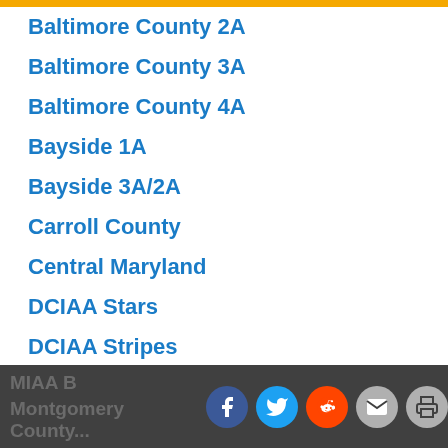Baltimore County 2A
Baltimore County 3A
Baltimore County 4A
Bayside 1A
Bayside 3A/2A
Carroll County
Central Maryland
DCIAA Stars
DCIAA Stripes
Howard County
Interstate
MIAA A
MIAA B  Montgomery County 3A/2A